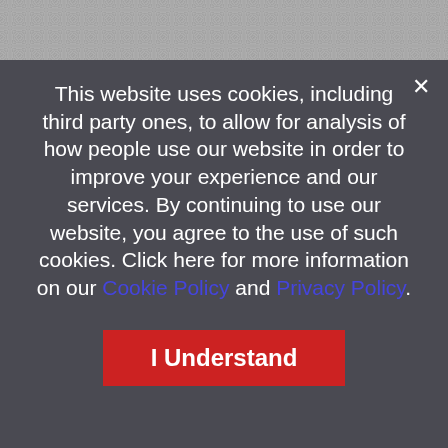[Figure (other): Dotted/patterned grey background strip at the top of the page, representing a webpage visible behind the cookie consent modal.]
This website uses cookies, including third party ones, to allow for analysis of how people use our website in order to improve your experience and our services. By continuing to use our website, you agree to the use of such cookies. Click here for more information on our Cookie Policy and Privacy Policy.
I Understand